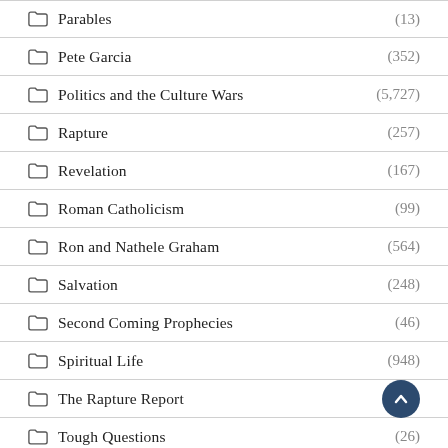Parables (13)
Pete Garcia (352)
Politics and the Culture Wars (5,727)
Rapture (257)
Revelation (167)
Roman Catholicism (99)
Ron and Nathele Graham (564)
Salvation (248)
Second Coming Prophecies (46)
Spiritual Life (948)
The Rapture Report
Tough Questions (26)